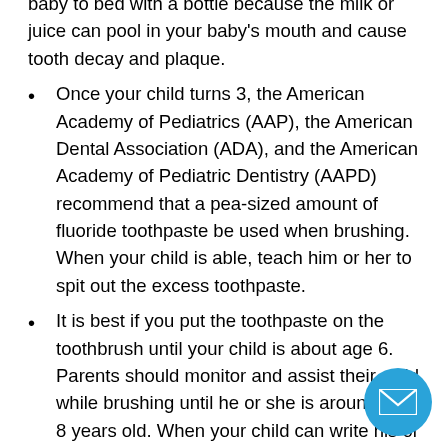baby to bed with a bottle because the milk or juice can pool in your baby's mouth and cause tooth decay and plaque.
Once your child turns 3, the American Academy of Pediatrics (AAP), the American Dental Association (ADA), and the American Academy of Pediatric Dentistry (AAPD) recommend that a pea-sized amount of fluoride toothpaste be used when brushing. When your child is able, teach him or her to spit out the excess toothpaste.
It is best if you put the toothpaste on the toothbrush until your child is about age 6. Parents should monitor and assist their child while brushing until he or she is around 7 or 8 years old. When your child can write his or her name well, he or she also has the ability to brush well.
The American Dental Association (ADA) recommends that children see a dentist by